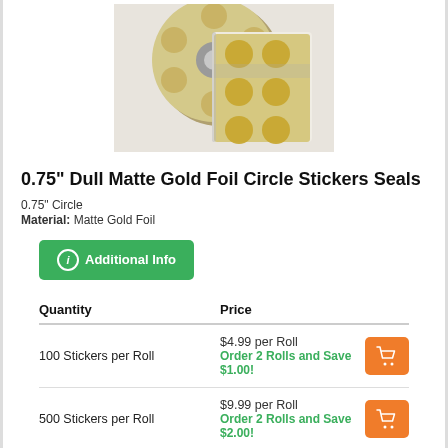[Figure (photo): Two rolls of 0.75 inch dull matte gold foil circle sticker seals. The rolls show gold metallic circular stickers on white backing paper, wound around cardboard cores.]
0.75" Dull Matte Gold Foil Circle Stickers Seals
0.75" Circle
Material: Matte Gold Foil
Additional Info
| Quantity | Price |
| --- | --- |
| 100 Stickers per Roll | $4.99 per Roll
Order 2 Rolls and Save $1.00! |
| 500 Stickers per Roll | $9.99 per Roll
Order 2 Rolls and Save $2.00! |
| 1,000 Stickers per Roll | $16.00 per Roll |